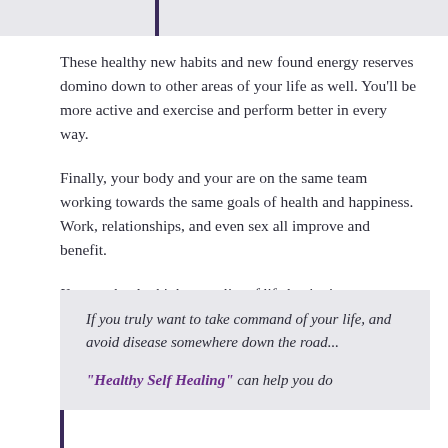These healthy new habits and new found energy reserves domino down to other areas of your life as well. You'll be more active and exercise and perform better in every way.
Finally, your body and your are on the same team working towards the same goals of health and happiness. Work, relationships, and even sex all improve and benefit.
You can lead a higher quality of life beginning now...
If you truly want to take command of your life, and avoid disease somewhere down the road... "Healthy Self Healing" can help you do